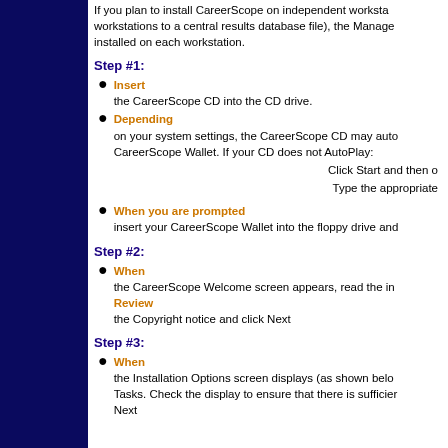If you plan to install CareerScope on independent workstations to a central results database file), the Manager installed on each workstation.
Step #1:
Insert the CareerScope CD into the CD drive.
Depending on your system settings, the CareerScope CD may auto CareerScope Wallet. If your CD does not AutoPlay:
Click Start and then o
Type the appropriate
When you are prompted insert your CareerScope Wallet into the floppy drive and
Step #2:
When the CareerScope Welcome screen appears, read the in Review the Copyright notice and click Next
Step #3:
When the Installation Options screen displays (as shown belo Tasks. Check the display to ensure that there is sufficier Next